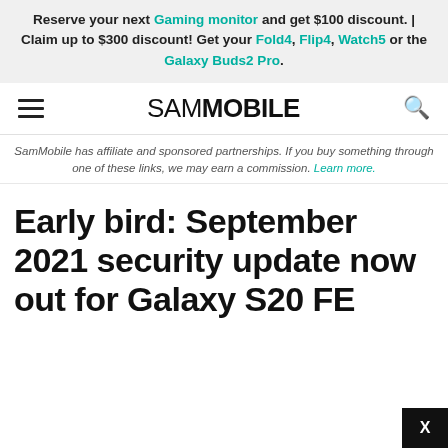Reserve your next Gaming monitor and get $100 discount. | Claim up to $300 discount! Get your Fold4, Flip4, Watch5 or the Galaxy Buds2 Pro.
SAMMOBILE
SamMobile has affiliate and sponsored partnerships. If you buy something through one of these links, we may earn a commission. Learn more.
Early bird: September 2021 security update now out for Galaxy S20 FE